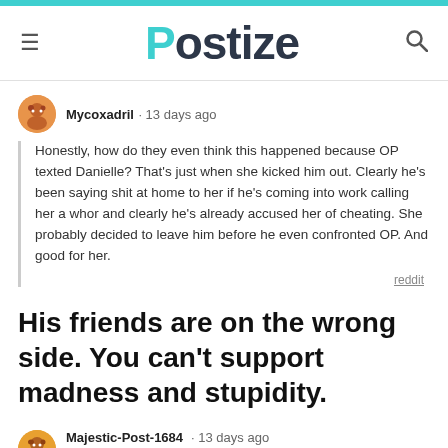Postize
Mycoxadril · 13 days ago
Honestly, how do they even think this happened because OP texted Danielle? That's just when she kicked him out. Clearly he's been saying shit at home to her if he's coming into work calling her a whor and clearly he's already accused her of cheating. She probably decided to leave him before he even confronted OP. And good for her.
reddit
His friends are on the wrong side. You can't support madness and stupidity.
Majestic-Post-1684 · 13 days ago